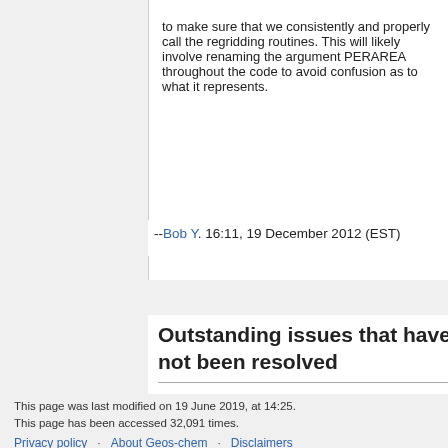to make sure that we consistently and properly call the regridding routines. This will likely involve renaming the argument PERAREA throughout the code to avoid confusion as to what it represents.
--Bob Y. 16:11, 19 December 2012 (EST)
Outstanding issues that have not been resolved
This page was last modified on 19 June 2019, at 14:25.
This page has been accessed 32,091 times.
Privacy policy · About Geos-chem · Disclaimers